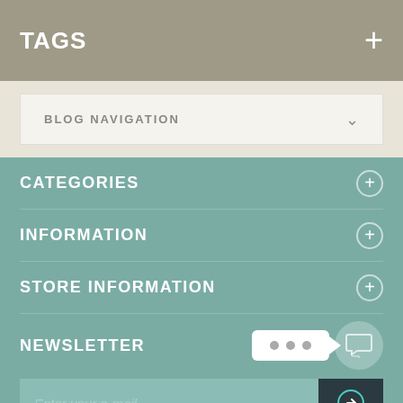TAGS
BLOG NAVIGATION
CATEGORIES
INFORMATION
STORE INFORMATION
NEWSLETTER
[Figure (screenshot): Chat bubble with three dots and a circular chat icon overlay]
Enter your e-mail